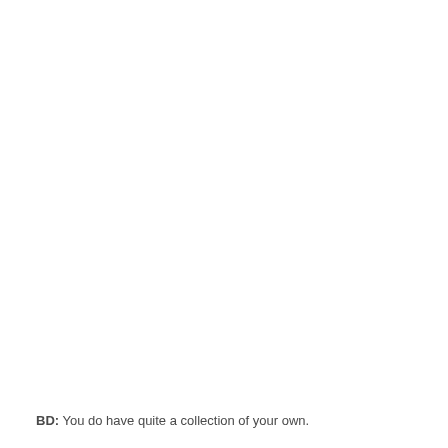BD: You do have quite a collection of your own.